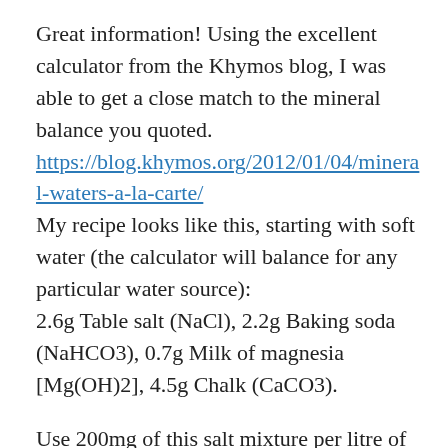Great information! Using the excellent calculator from the Khymos blog, I was able to get a close match to the mineral balance you quoted.
https://blog.khymos.org/2012/01/04/mineral-waters-a-la-carte/
My recipe looks like this, starting with soft water (the calculator will balance for any particular water source):
2.6g Table salt (NaCl), 2.2g Baking soda (NaHCO3), 0.7g Milk of magnesia [Mg(OH)2], 4.5g Chalk (CaCO3).
Use 200mg of this salt mixture per litre of water.